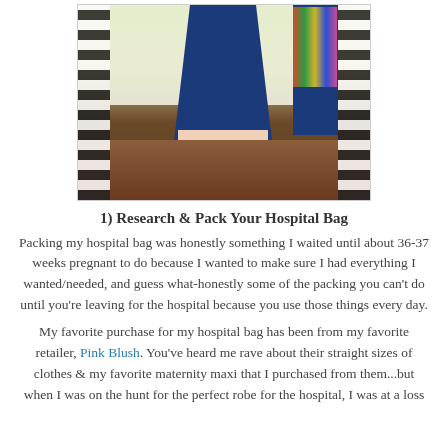[Figure (photo): A pregnant woman in a navy blue dress standing barefoot on a dark hardwood floor near a window with black and white buffalo check/plaid curtains. A blue bookshelf with colorful books is visible on the right.]
1) Research & Pack Your Hospital Bag
Packing my hospital bag was honestly something I waited until about 36-37 weeks pregnant to do because I wanted to make sure I had everything I wanted/needed, and guess what-honestly some of the packing you can't do until you're leaving for the hospital because you use those things every day.
My favorite purchase for my hospital bag has been from my favorite retailer, Pink Blush. You've heard me rave about their straight sizes of clothes & my favorite maternity maxi that I purchased from them...but when I was on the hunt for the perfect robe for the hospital, I was at a loss